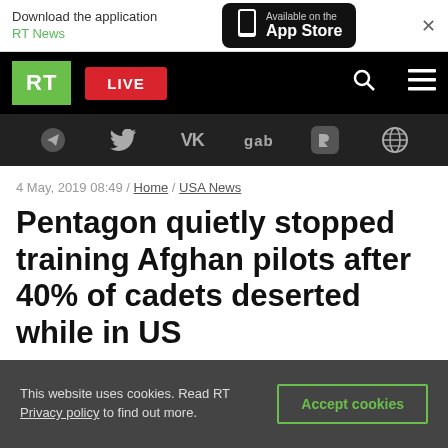Download the application RT News / Available on the App Store
[Figure (logo): RT logo and navigation bar with LIVE button, search and menu icons]
[Figure (infographic): Social media icons bar: Telegram, Twitter, VK, gab, Rumble, globe/ODysee]
4 May, 2019 08:49 / Home / USA News
Pentagon quietly stopped training Afghan pilots after 40% of cadets deserted while in US
This website uses cookies. Read RT Privacy policy to find out more.